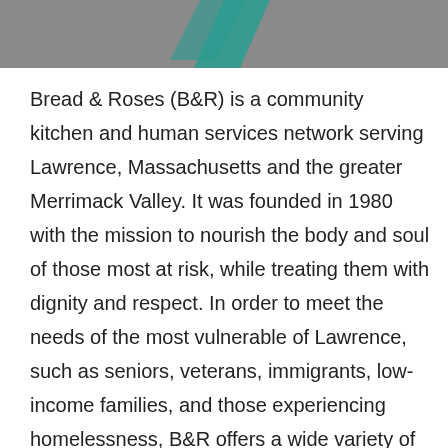[Figure (illustration): Teal/grey header banner with a partial teal arrow or logo visible at the top center]
Bread & Roses (B&R) is a community kitchen and human services network serving Lawrence, Massachusetts and the greater Merrimack Valley. It was founded in 1980 with the mission to nourish the body and soul of those most at risk, while treating them with dignity and respect. In order to meet the needs of the most vulnerable of Lawrence, such as seniors, veterans, immigrants, low-income families, and those experiencing homelessness, B&R offers a wide variety of services beyond providing food, such as health services, case management, and access to